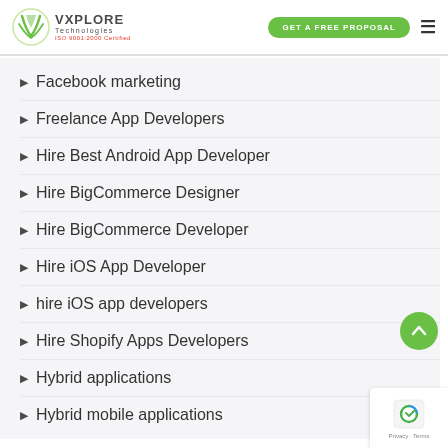VXPLORE Technologies — GET A FREE PROPOSAL
Facebook marketing
Freelance App Developers
Hire Best Android App Developer
Hire BigCommerce Designer
Hire BigCommerce Developer
Hire iOS App Developer
hire iOS app developers
Hire Shopify Apps Developers
Hybrid applications
Hybrid mobile applications